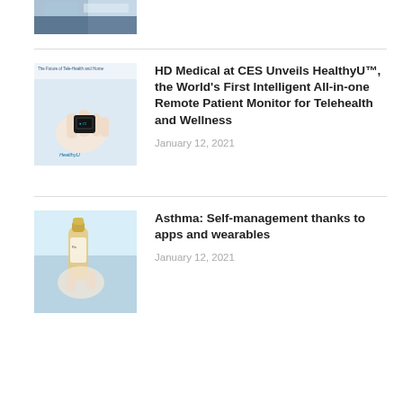[Figure (photo): Partial top image, cropped medical/tech photo]
[Figure (photo): Hand holding a small black wearable device (HealthyU monitor) with 'The Future of Tele-Health and Home' label]
HD Medical at CES Unveils HealthyU™, the World's First Intelligent All-in-one Remote Patient Monitor for Telehealth and Wellness
January 12, 2021
[Figure (photo): Hand holding a small medicine bottle/inhaler, light blue/teal medical background]
Asthma: Self-management thanks to apps and wearables
January 12, 2021